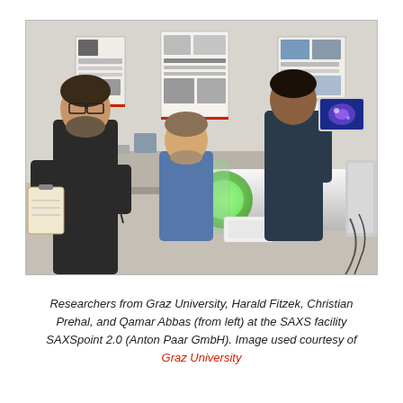[Figure (photo): Three researchers standing in a laboratory setting with a SAXS instrument (a large white cylindrical tube with a green light). The man on the left wears a black t-shirt and glasses and holds a clipboard. The man in the middle sits and wears a blue shirt. The man on the right stands and holds a laptop displaying a blue image. Scientific posters hang on the wall behind them.]
Researchers from Graz University, Harald Fitzek, Christian Prehal, and Qamar Abbas (from left) at the SAXS facility SAXSpoint 2.0 (Anton Paar GmbH). Image used courtesy of Graz University